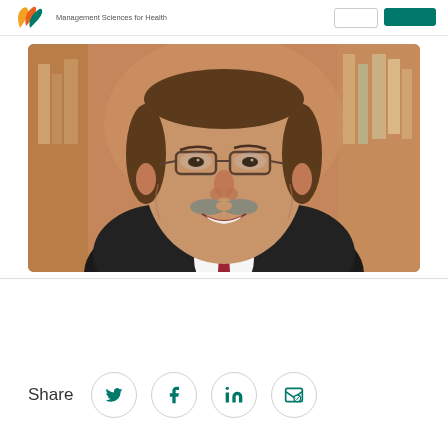Management Sciences for Health
[Figure (photo): Professional headshot of a middle-aged man wearing glasses, a dark suit jacket, white dress shirt, and a red patterned tie. He has a gray mustache and is smiling. Background shows blurred bookshelves.]
Share
[Figure (infographic): Share icons row: Twitter bird icon, Facebook 'f' icon, LinkedIn 'in' icon, and an email/envelope icon — each inside a circular outlined button.]